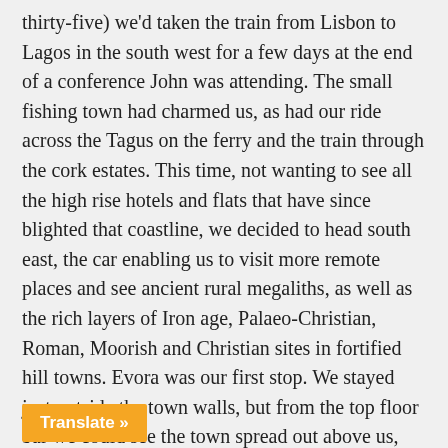thirty-five) we'd taken the train from Lisbon to Lagos in the south west for a few days at the end of a conference John was attending. The small fishing town had charmed us, as had our ride across the Tagus on the ferry and the train through the cork estates. This time, not wanting to see all the high rise hotels and flats that have since blighted that coastline, we decided to head south east, the car enabling us to visit more remote places and see ancient rural megaliths, as well as the rich layers of Iron age, Palaeo-Christian, Roman, Moorish and Christian sites in fortified hill towns. Evora was our first stop. We stayed just outside the town walls, but from the top floor bar we could see the town spread out above us, dominated by the stolid Romanesque/Gothic cathedral. Beyond, in the countryside we walked up earth tracks between cork and olive trees and grazing cattle to find early history's atmospheric menhirs and dolmens. On a wet day we dashed with dripping umbrellas between the museum's Iron age and Roman finds, the Roman temple and baths, and churches with blue and white tiled interiors, an[d] [fascinated] by a small metallic notice on Vasco da